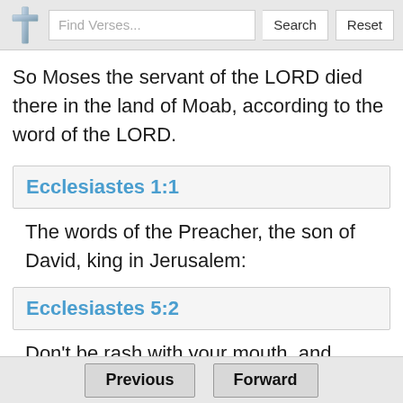Find Verses... Search Reset
So Moses the servant of the LORD died there in the land of Moab, according to the word of the LORD.
Ecclesiastes 1:1
The words of the Preacher, the son of David, king in Jerusalem:
Ecclesiastes 5:2
Don't be rash with your mouth, and don't let your heart be hasty to utter anything before God: for
Previous  Forward